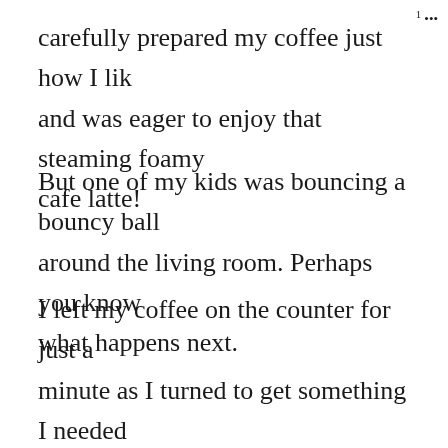carefully prepared my coffee just how I lik and was eager to enjoy that steaming foamy cafe latte!
But one of my kids was bouncing a bouncy ball around the living room. Perhaps you know what happens next.
I left my coffee on the counter for just a minute as I turned to get something I needed for my work-at-home day, when all of a sudden the bouncy ball sailed through the air, bounced